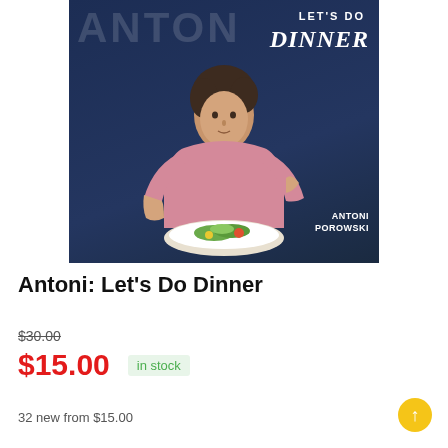[Figure (photo): Book cover of 'Antoni: Let's Do Dinner' by Antoni Porowski. Shows a man in a pink t-shirt sitting at a table with a salad bowl, against a dark navy background. The title 'LET'S DO DINNER' appears in white text on the cover, along with the author name 'ANTONI POROWSKI'.]
Antoni: Let's Do Dinner
$30.00
$15.00  in stock
32 new from $15.00